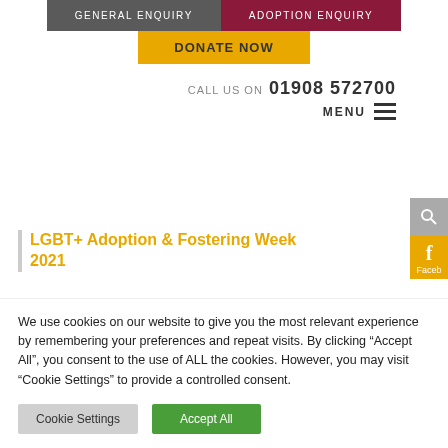GENERAL ENQUIRY | ADOPTION ENQUIRY
DONATE NOW
CALL US ON 01908 572700 MENU
LGBT+ Adoption & Fostering Week 2021
We use cookies on our website to give you the most relevant experience by remembering your preferences and repeat visits. By clicking “Accept All”, you consent to the use of ALL the cookies. However, you may visit "Cookie Settings" to provide a controlled consent.
Cookie Settings | Accept All